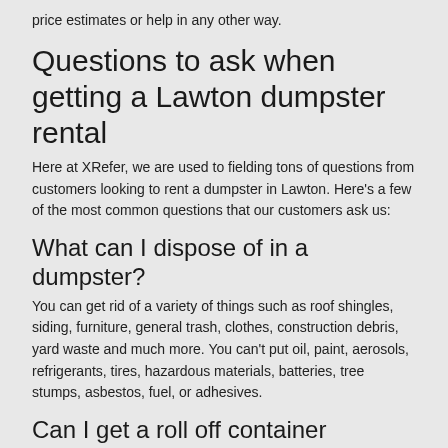price estimates or help in any other way.
Questions to ask when getting a Lawton dumpster rental
Here at XRefer, we are used to fielding tons of questions from customers looking to rent a dumpster in Lawton. Here's a few of the most common questions that our customers ask us:
What can I dispose of in a dumpster?
You can get rid of a variety of things such as roof shingles, siding, furniture, general trash, clothes, construction debris, yard waste and much more. You can't put oil, paint, aerosols, refrigerants, tires, hazardous materials, batteries, tree stumps, asbestos, fuel, or adhesives.
Can I get a roll off container delivered today?
In some cases you can get a same day delivery, but not always. If you know that you will need a dumpster delivered in Lawton on a certain day, it's always a good idea to schedule it a few weeks in advance to make sure there is availability.
How much does it cost to rent a dumpster in